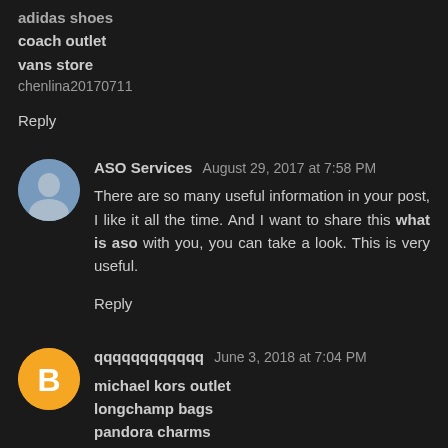adidas shoes
coach outlet
vans store
chenlina20170711
Reply
ASO Services  August 29, 2017 at 7:58 PM
There are so many useful information in your post, I like it all the time. And I want to share this what is aso with you, you can take a look. This is very useful.
Reply
qqqqqqqqqqqq  June 3, 2018 at 7:04 PM
michael kors outlet
longchamp bags
pandora charms
yeezy boost 350 v2
yeezys
balenciaga shoes